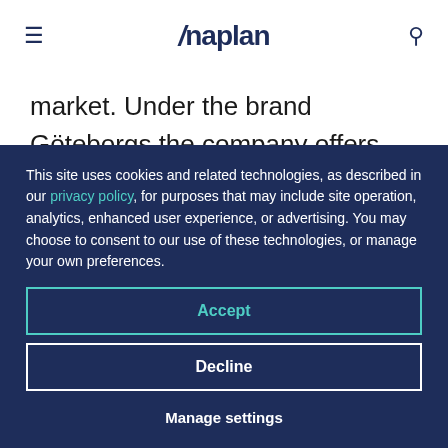Anaplan
market. Under the brand Göteborgs the company offers well-known branded biscuit products as Ballerina, Singoalla, Brago, Guld Marie, Kung Oscar Pepparkakor among others.
This site uses cookies and related technologies, as described in our privacy policy, for purposes that may include site operation, analytics, enhanced user experience, or advertising. You may choose to consent to our use of these technologies, or manage your own preferences.
Accept
Decline
Manage settings